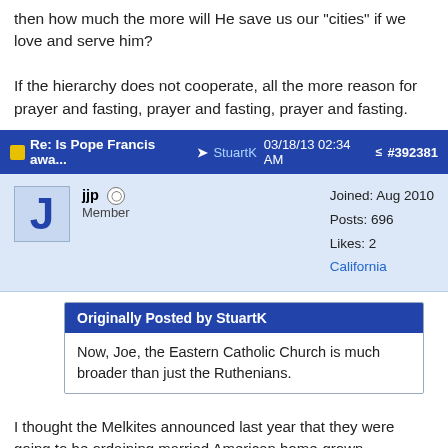then how much the more will He save us our "cities" if we love and serve him?
If the hierarchy does not cooperate, all the more reason for prayer and fasting, prayer and fasting, prayer and fasting.
Re: Is Pope Francis awa... → StuartK 03/18/13 02:34 AM #392381
jjp Member | Joined: Aug 2010 | Posts: 696 | Likes: 2 | California
Originally Posted by StuartK
Now, Joe, the Eastern Catholic Church is much broader than just the Ruthenians.
I thought the Melkites announced last year that they were going to be ordaining married American home-grown candidates. Anybody aware of recent developments on that front? I'd love to see them follow through.